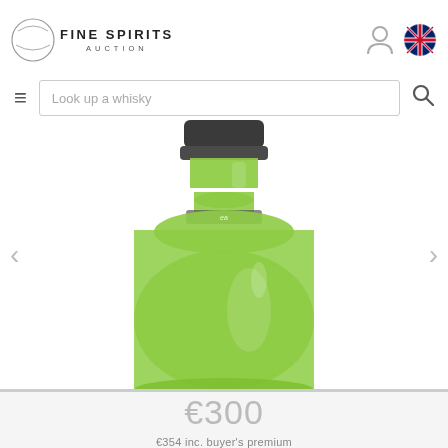FINE SPIRITS AUCTION
[Figure (photo): Close-up of a green whisky bottle neck and body with dark cap, showing green glass color]
€300
€354 inc. buyer's premium